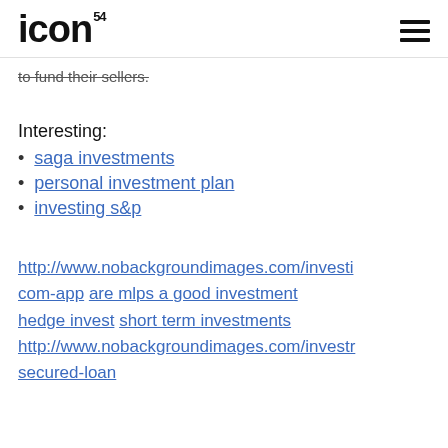ICON⁵⁴
to fund their sellers.
Interesting:
saga investments
personal investment plan
investing s&p
http://www.nobackgroundimages.com/investi com-app are mlps a good investment hedge invest short term investments http://www.nobackgroundimages.com/investr secured-loan